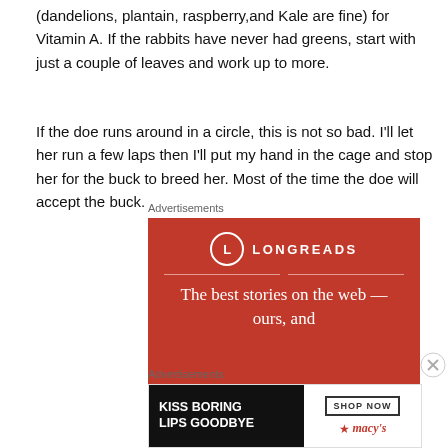(dandelions, plantain, raspberry,and Kale are fine) for Vitamin A. If the rabbits have never had greens, start with just a couple of leaves and work up to more.
If the doe runs around in a circle, this is not so bad. I'll let her run a few laps then I'll put my hand in the cage and stop her for the buck to breed her. Most of the time the doe will accept the buck.
Advertisements
[Figure (other): Longreads advertisement: red background with Longreads logo and text 'The best stories on the web — ours, and']
Advertisements
[Figure (other): Macy's advertisement: 'KISS BORING LIPS GOODBYE' with SHOP NOW button and Macy's logo]